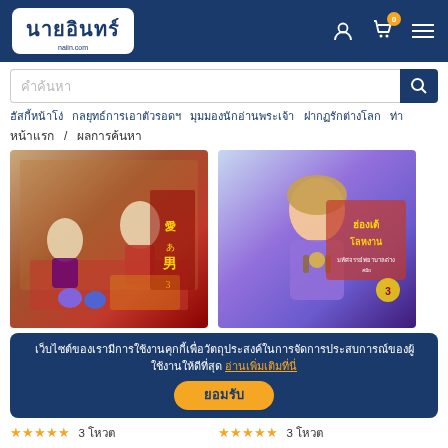นายอินทร์ naiin.com
คำค้นหา
ฮัสกี้หน้าโง่  กลยุทธ์การเอาตัวรอดฯ  มุมมองนักอ่านพระเจ้า  ฝากฏรักต่างโลก  ท่าหน้าแรก  /  ผลการค้นหา
[Figure (photo): Book cover 1 - Chinese manga/novel cover with characters in traditional costumes]
[Figure (photo): Book cover 2 - Thai manga/novel cover with character in fantasy setting, titled ฮ่องเต้โลหงาน]
เว็บไซต์ของเรามีการใช้งานคุกกี้เพื่อวัตถุประสงค์ในการจัดการประสบการณ์ของผู้ใช้งานให้ดีที่สุด อ่านเพิ่มเติมที่นี่
ยอมรับ
★★★★★ 3 โหวต  440.00  374.00 บาท
★★★★★ 3 โหวต  469.00  398.65 บาท